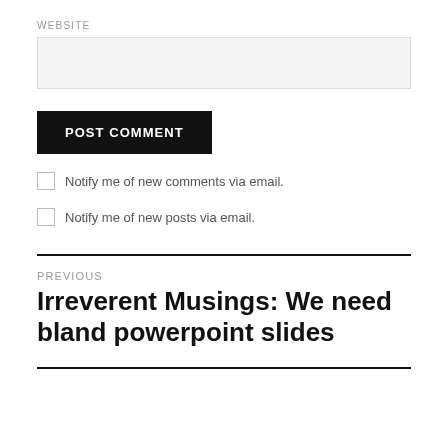WEBSITE
[input box]
POST COMMENT
Notify me of new comments via email.
Notify me of new posts via email.
PREVIOUS
Irreverent Musings: We need bland powerpoint slides